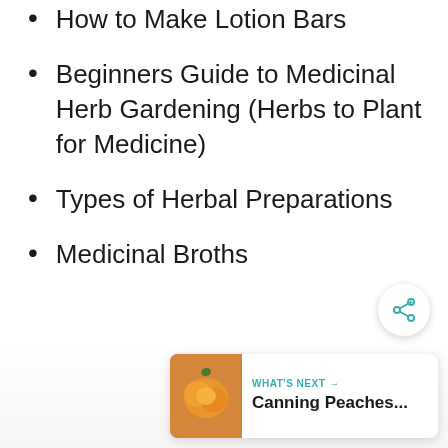How to Make Lotion Bars
Beginners Guide to Medicinal Herb Gardening (Herbs to Plant for Medicine)
Types of Herbal Preparations
Medicinal Broths
[Figure (other): Share button (circular white button with share/network icon)]
[Figure (other): What's Next card with thumbnail of peaches image, label 'WHAT'S NEXT →', and title 'Canning Peaches...']